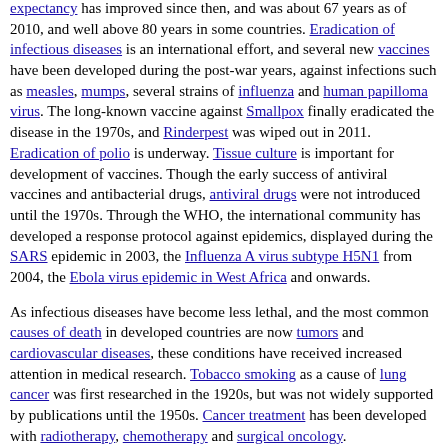expectancy has improved since then, and was about 67 years as of 2010, and well above 80 years in some countries. Eradication of infectious diseases is an international effort, and several new vaccines have been developed during the post-war years, against infections such as measles, mumps, several strains of influenza and human papilloma virus. The long-known vaccine against Smallpox finally eradicated the disease in the 1970s, and Rinderpest was wiped out in 2011. Eradication of polio is underway. Tissue culture is important for development of vaccines. Though the early success of antiviral vaccines and antibacterial drugs, antiviral drugs were not introduced until the 1970s. Through the WHO, the international community has developed a response protocol against epidemics, displayed during the SARS epidemic in 2003, the Influenza A virus subtype H5N1 from 2004, the Ebola virus epidemic in West Africa and onwards.
As infectious diseases have become less lethal, and the most common causes of death in developed countries are now tumors and cardiovascular diseases, these conditions have received increased attention in medical research. Tobacco smoking as a cause of lung cancer was first researched in the 1920s, but was not widely supported by publications until the 1950s. Cancer treatment has been developed with radiotherapy, chemotherapy and surgical oncology.
Oral rehydration therapy has been extensively used since the 1970s...